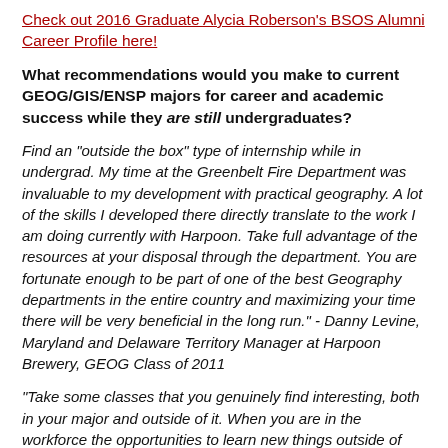Check out 2016 Graduate Alycia Roberson's BSOS Alumni Career Profile here!
What recommendations would you make to current GEOG/GIS/ENSP majors for career and academic success while they are still undergraduates?
Find an "outside the box" type of internship while in undergrad. My time at the Greenbelt Fire Department was invaluable to my development with practical geography. A lot of the skills I developed there directly translate to the work I am doing currently with Harpoon. Take full advantage of the resources at your disposal through the department. You are fortunate enough to be part of one of the best Geography departments in the entire country and maximizing your time there will be very beneficial in the long run." - Danny Levine, Maryland and Delaware Territory Manager at Harpoon Brewery, GEOG Class of 2011
"Take some classes that you genuinely find interesting, both in your major and outside of it. When you are in the workforce the opportunities to learn new things outside of your immediate job